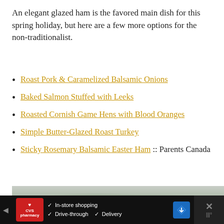An elegant glazed ham is the favored main dish for this spring holiday, but here are a few more options for the non-traditionalist.
Roast Pork & Caramelized Balsamic Onions
Baked Salmon Stuffed with Leeks
Roasted Cornish Game Hens with Blood Oranges
Simple Butter-Glazed Roast Turkey
Sticky Rosemary Balsamic Easter Ham :: Parents Canada
[Figure (photo): Blurred food/plant photo, showing green herbs or leaves with a light background, partially visible dish]
[Figure (other): CVS Pharmacy advertisement bar: In-store shopping, Drive-through, Delivery with blue navigation icon and close button]